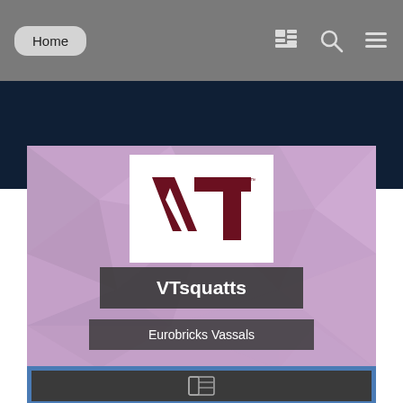Home
[Figure (screenshot): Dark blue banner/advertisement area at top of profile page]
[Figure (logo): Virginia Tech VT logo in red and dark maroon on white background]
VTsquatts
Eurobricks Vassals
CONTENT COUNT
42